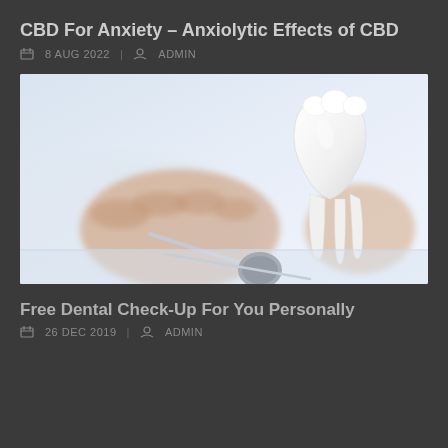CBD For Anxiety – Anxiolytic Effects of CBD
8 AUG 2022  |  ADMIN
[Figure (photo): Close-up of dental tools including a mouth mirror and a white tooth model on a table, with a dentist's hands in the background wearing white coat]
Free Dental Check-Up For You Personally
26 DEC 2019  |  ADMIN